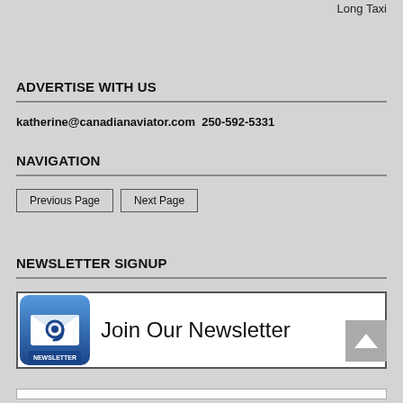Long Taxi
ADVERTISE WITH US
katherine@canadianaviator.com  250-592-5331
NAVIGATION
Previous Page   Next Page
NEWSLETTER SIGNUP
[Figure (infographic): Newsletter signup banner with envelope icon and text 'Join Our Newsletter']